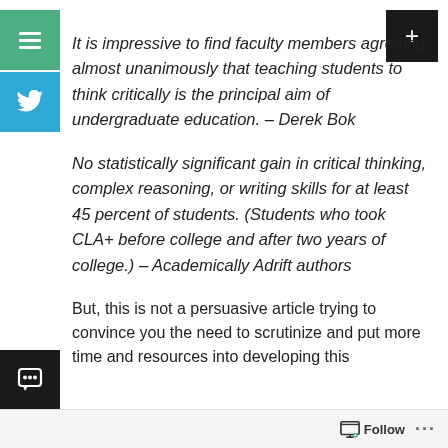It is impressive to find faculty members agreeing almost unanimously that teaching students to think critically is the principal aim of undergraduate education. – Derek Bok
No statistically significant gain in critical thinking, complex reasoning, or writing skills for at least 45 percent of students. (Students who took CLA+ before college and after two years of college.) – Academically Adrift authors
But, this is not a persuasive article trying to convince you the need to scrutinize and put more time and resources into developing this
Follow ···